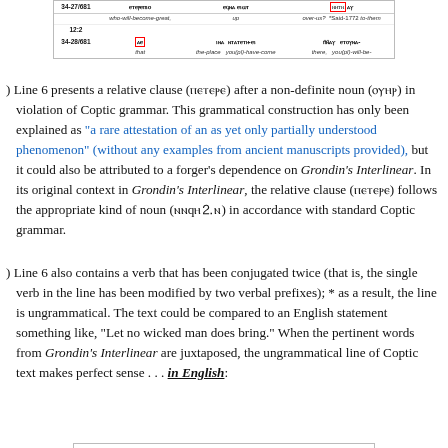[Figure (table-as-image): Partial interlinear table showing Coptic text with lines 12:2 and 34-28/681, columns for Coptic words and English glosses, with some cells boxed in red.]
Line 6 presents a relative clause (☐☐☐☐☐) after a non-definite noun (☐☐☐☐) in violation of Coptic grammar. This grammatical construction has only been explained as "a rare attestation of an as yet only partially understood phenomenon" (without any examples from ancient manuscripts provided), but it could also be attributed to a forger’s dependence on Grondin’s Interlinear. In its original context in Grondin’s Interlinear, the relative clause (☐☐☐☐☐) follows the appropriate kind of noun (☐☐q☐☑☐) in accordance with standard Coptic grammar.
Line 6 also contains a verb that has been conjugated twice (that is, the single verb in the line has been modified by two verbal prefixes); * as a result, the line is ungrammatical. The text could be compared to an English statement something like, “Let no wicked man does bring.” When the pertinent words from Grondin’s Interlinear are juxtaposed, the ungrammatical line of Coptic text makes perfect sense . . . in English:
[Figure (table-as-image): Partial interlinear table at bottom of page, partially cut off.]